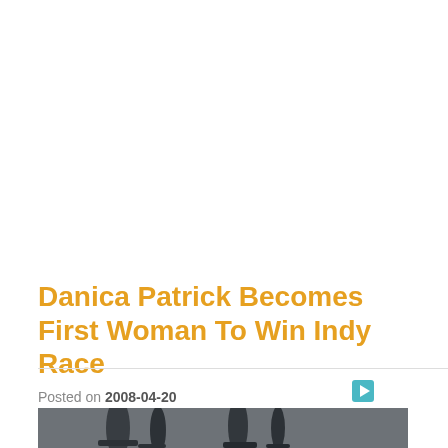Danica Patrick Becomes First Woman To Win Indy Race
Posted on 2008-04-20
[Figure (photo): Chess pieces photograph, partially visible at bottom of page]